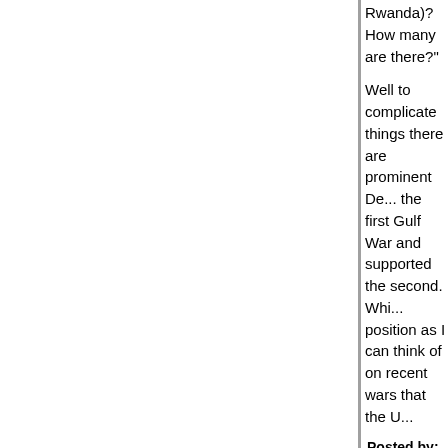Rwanda)? How many are there?"
Well to complicate things there are prominent De... the first Gulf War and supported the second. Whi... position as I can think of on recent wars that the U...
Posted by: Sebastian | August 23, 2010 at 12:01 PM
Eric touches on one issue that for me exemplifies... the war: the conflation of nuclear, biological and c...
Chemical weapons are simply not in the same cla... probably never will be. In theory a biological weap... developed that would have impact similar to a nu... know no such thing exists today.
Meanwhile, right now today, we are armed to the... smallest of which can, if detonated in a densely p... thousands of people instantly.
It was the "mushroom cloud" threat that was usec... fundamentally dishonest.
[P.S., McKinneyTexas, I apologize for misspelling...
Posted by: ral | August 23, 2010 at 12:05 PM